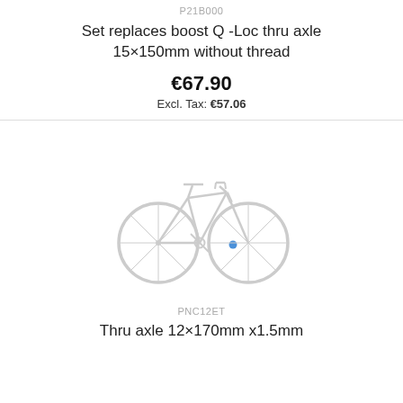P21B000
Set replaces boost Q -Loc thru axle 15×150mm without thread
€67.90
Excl. Tax: €57.06
[Figure (illustration): Outline illustration of a road bicycle in light gray with a small blue dot near the front hub area]
PNC12ET
Thru axle 12×170mm x1.5mm